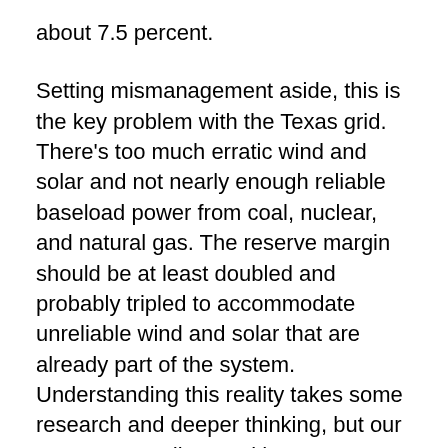about 7.5 percent.
Setting mismanagement aside, this is the key problem with the Texas grid. There’s too much erratic wind and solar and not nearly enough reliable baseload power from coal, nuclear, and natural gas. The reserve margin should be at least doubled and probably tripled to accommodate unreliable wind and solar that are already part of the system. Understanding this reality takes some research and deeper thinking, but our corporate media are either not interested or are incapable of learning about the technical aspects of how the electrical grid functions.
True journalism is hard to find these days. What could be more important to the function of our modern world than electricity? And yet, corporate media are more interested in telling small truths wrapped in giant lies. The